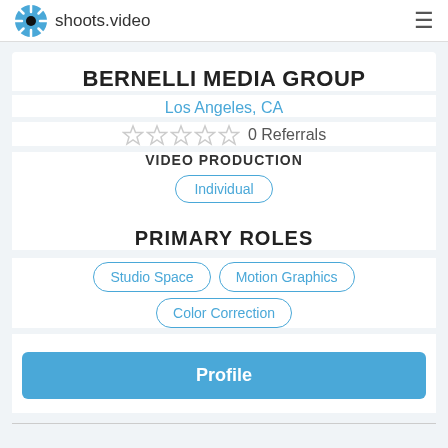shoots.video
BERNELLI MEDIA GROUP
Los Angeles, CA
0 Referrals
VIDEO PRODUCTION
Individual
PRIMARY ROLES
Studio Space
Motion Graphics
Color Correction
Profile